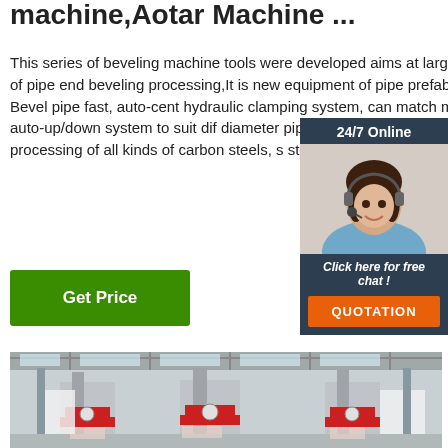machine,Aotar Machine ...
This series of beveling machine tools were developed aims at large quantities of pipe end beveling processing,It is new equipment of pipe prefabrication. Bevel pipe fast, auto-cent hydraulic clamping system, can match m machine auto-up/down system to suit dif diameter pipes to use, suitable for bevel processing of all kinds of carbon steels, steels, alloy steels, etc.
[Figure (other): Customer service representative widget with '24/7 Online' header, photo of woman with headset, 'Click here for free chat!' text, and orange QUOTATION button]
[Figure (photo): Factory interior showing industrial beveling machines with red casing and vertical pillars in a large warehouse]
Get Price